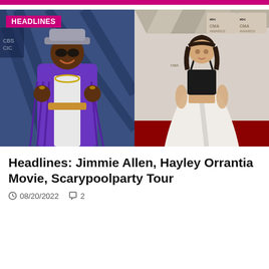[Figure (photo): Two side-by-side photos: left shows Jimmie Allen in a purple fringe suede jacket, hat, and sunglasses at a red carpet event with CBS logo background; right shows Hayley Orrantia in a black crop top and white tulle skirt at the CMA Awards red carpet.]
Headlines: Jimmie Allen, Hayley Orrantia Movie, Scarypoolparty Tour
08/20/2022   2